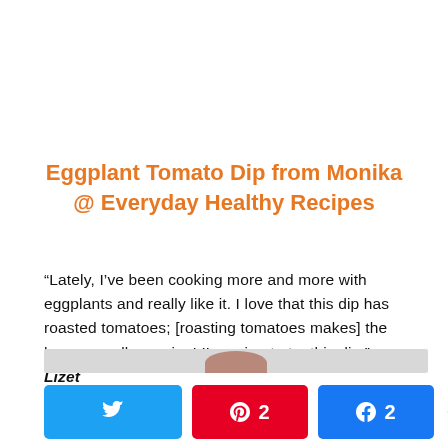Eggplant Tomato Dip from Monika @ Everyday Healthy Recipes
“Lately, I’ve been cooking more and more with eggplants and really like it. I love that this dip has roasted tomatoes; [roasting tomatoes makes] the house smell amazing! I’m going to try this dip.” — Lizet
[Figure (photo): Partial image strip at the bottom of the page showing a dish photo, partially cut off]
2  2  4 SHARES